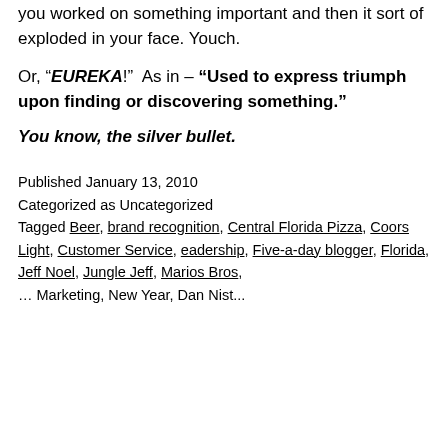you worked on something important and then it sort of exploded in your face. Youch.
Or, “EUREKA!”  As in – “Used to express triumph upon finding or discovering something.”
You know, the silver bullet.
Published January 13, 2010
Categorized as Uncategorized
Tagged Beer, brand recognition, Central Florida Pizza, Coors Light, Customer Service, eadership, Five-a-day blogger, Florida, Jeff Noel, Jungle Jeff, Marios Bros, ...